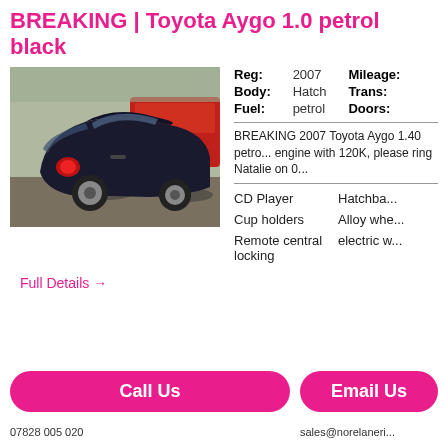BREAKING | Toyota Aygo 1.0 petrol black
[Figure (photo): Black Toyota Aygo hatchback car photographed from rear-side angle in a parking/yard area, with a red car visible in background]
| Label | Value | Label | Value |
| --- | --- | --- | --- |
| Reg: | 2007 | Mileage: |  |
| Body: | Hatch | Trans: |  |
| Fuel: | petrol | Doors: |  |
BREAKING 2007 Toyota Aygo 1.40 petrol engine with 120K, please ring Natalie on 0...
CD Player
Hatchba...
Cup holders
Alloy whe...
Remote central locking
electric w...
Full Details →
Call Us
Email Us
07828 005 020
sales@norelaneritage...